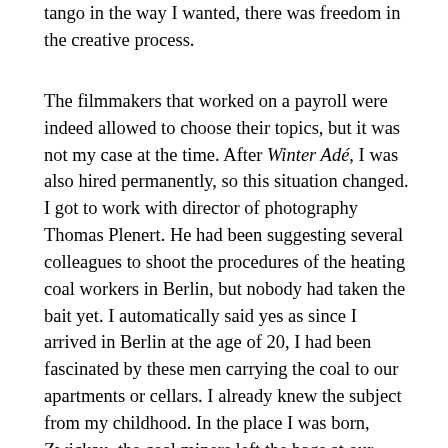tango in the way I wanted, there was freedom in the creative process.
The filmmakers that worked on a payroll were indeed allowed to choose their topics, but it was not my case at the time. After Winter Adé, I was also hired permanently, so this situation changed. I got to work with director of photography Thomas Plenert. He had been suggesting several colleagues to shoot the procedures of the heating coal workers in Berlin, but nobody had taken the bait yet. I automatically said yes as since I arrived in Berlin at the age of 20, I had been fascinated by these men carrying the coal to our apartments or cellars. I already knew the subject from my childhood. In the place I was born, Zwickau, the coal miners left the bags at our doorstep. Together with my sister I had the duty of carrying these to the storehouse. In Berlin it worked differently, it is a big city with a lot of traffic, so the coal could not be sitting on the pavement, hence this necessity of the coal carriers. There was something else that caught my eye. In many new areas of the city the heating system did not work on coal anymore so children did not have a clue of how the heat existed in their buildings. I thought it would be nice to show them how this works and